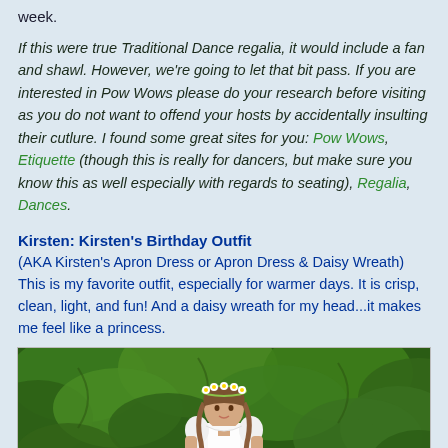week.
If this were true Traditional Dance regalia, it would include a fan and shawl. However, we're going to let that bit pass. If you are interested in Pow Wows please do your research before visiting as you do not want to offend your hosts by accidentally insulting their cutlure. I found some great sites for you: Pow Wows, Etiquette (though this is really for dancers, but make sure you know this as well especially with regards to seating), Regalia, Dances.
Kirsten: Kirsten's Birthday Outfit
(AKA Kirsten's Apron Dress or Apron Dress & Daisy Wreath) This is my favorite outfit, especially for warmer days. It is crisp, clean, light, and fun! And a daisy wreath for my head...it makes me feel like a princess.
[Figure (photo): A doll (Kirsten American Girl doll) wearing a white dress with puffed sleeves, standing in front of green leafy plants/foliage. The doll has braided hair with a daisy wreath.]